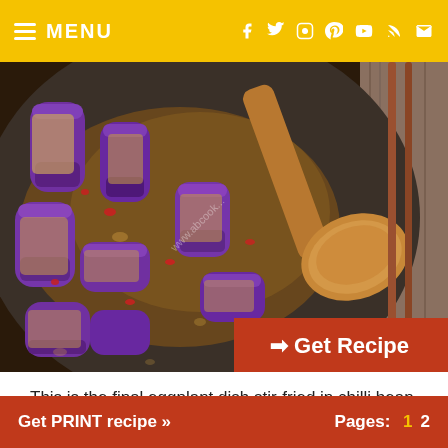MENU
[Figure (photo): Eggplant pieces stir-fried in chilli bean paste sauce in a dark wok, with a wooden spoon, and chopsticks visible on the right side.]
This is the final eggplant dish stir-fried in chilli bean paste sauce. Enjoy!~
Get PRINT recipe »  Pages: 1  2